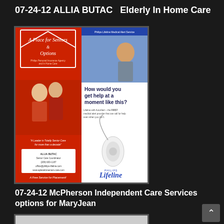07-24-12 ALLIA BUTAC  Elderly In Home Care
[Figure (photo): Advertisement image showing two panels. Left panel has red background with cursive text 'A Place for Seniors & Options', an elderly couple embracing, a quote about senior care, contact information for ALLIA BUTAC Senior Care Coordinator. Right panel shows Philips Lifeline Medical Alert Service branding with an elderly person struggling to get up, text reading 'How would you get help at a moment like this?', and an image of a Lifeline medical alert button device.]
07-24-12 McPherson Independent Care Services options for MaryJean
[Figure (photo): Partial view of another document or image, cut off at the bottom of the page.]